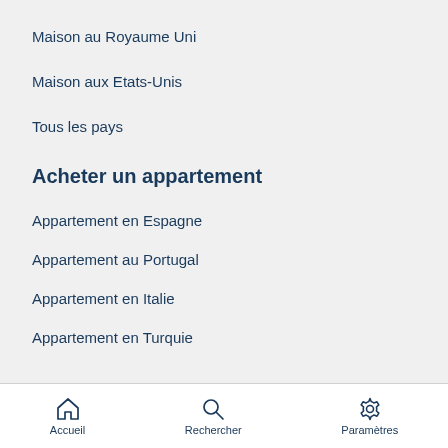Maison au Royaume Uni
Maison aux Etats-Unis
Tous les pays
Acheter un appartement
Appartement en Espagne
Appartement au Portugal
Appartement en Italie
Appartement en Turquie
Accueil  Rechercher  Paramètres